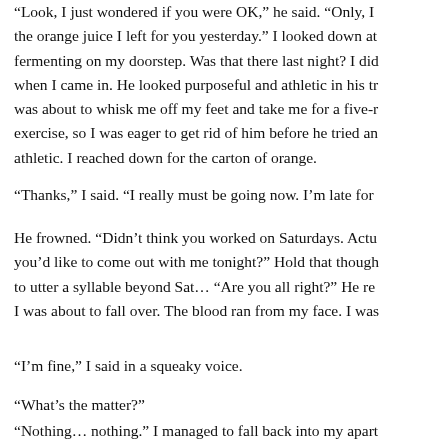“Look, I just wondered if you were OK,” he said. “Only, I the orange juice I left for you yesterday.” I looked down at fermenting on my doorstep. Was that there last night? I did when I came in. He looked purposeful and athletic in his tr was about to whisk me off my feet and take me for a five-r exercise, so I was eager to get rid of him before he tried an athletic. I reached down for the carton of orange.
“Thanks,” I said. “I really must be going now. I’m late for
He frowned. “Didn’t think you worked on Saturdays. Actu you’d like to come out with me tonight?” Hold that though to utter a syllable beyond Sat… “Are you all right?” He re I was about to fall over. The blood ran from my face. I was
“I’m fine,” I said in a squeaky voice.
“What’s the matter?”
“Nothing… nothing.” I managed to fall back into my apart
“To… I can’t quite…” I heard him off… the voice of a